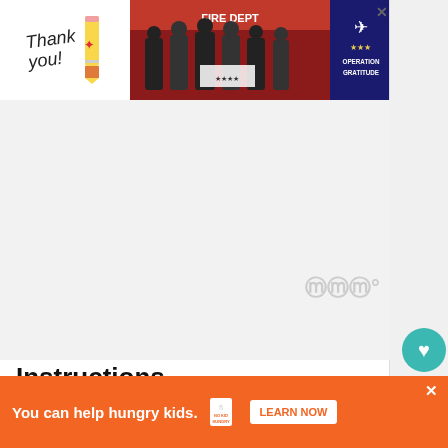[Figure (infographic): Banner advertisement: 'Thank you!' with pencil graphic on left, photo of firefighters in front of fire department on right, 'Operation Gratitude' logo with airplane on far right, close X button]
[Figure (photo): Large blank/white content area — recipe video or image placeholder, with WWW watermark/logo visible]
Instructions
1. Take the chicken breast and slice each one in
[Figure (infographic): Bottom orange banner ad: 'You can help hungry kids.' No Kid Hungry logo, LEARN NOW button, close X button]